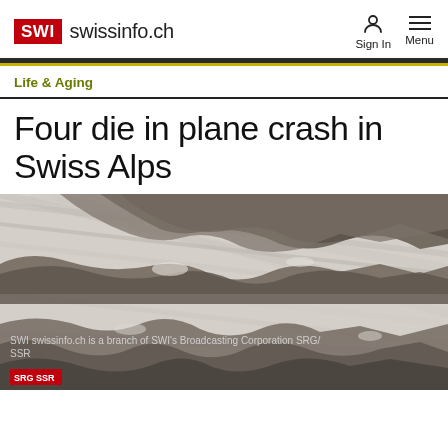SWI swissinfo.ch
Life & Aging
Four die in plane crash in Swiss Alps
[Figure (photo): Aerial view of Swiss Alps showing rocky outcrops and snow/ice fields, photo credit: SWI swissinfo.ch is a branch of SWI's Broadcasting Corporation SRG/SSR]
SWI swissinfo.ch is a branch of SWI's Broadcasting Corporation SRG/SSR